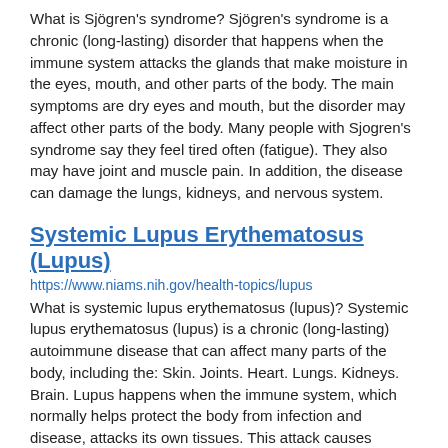What is Sjögren's syndrome? Sjögren's syndrome is a chronic (long-lasting) disorder that happens when the immune system attacks the glands that make moisture in the eyes, mouth, and other parts of the body. The main symptoms are dry eyes and mouth, but the disorder may affect other parts of the body. Many people with Sjogren's syndrome say they feel tired often (fatigue). They also may have joint and muscle pain. In addition, the disease can damage the lungs, kidneys, and nervous system.
Systemic Lupus Erythematosus (Lupus)
https://www.niams.nih.gov/health-topics/lupus
What is systemic lupus erythematosus (lupus)? Systemic lupus erythematosus (lupus) is a chronic (long-lasting) autoimmune disease that can affect many parts of the body, including the: Skin. Joints. Heart. Lungs. Kidneys. Brain. Lupus happens when the immune system, which normally helps protect the body from infection and disease, attacks its own tissues. This attack causes inflammation and, in some cases, permanent tissue damage. If you have lupus, you may have times of illness (flares) and times of wellness (remission). Lupus flares can be mild to serious, and they do not follow a pattern. However, with treatment, many people with lupus